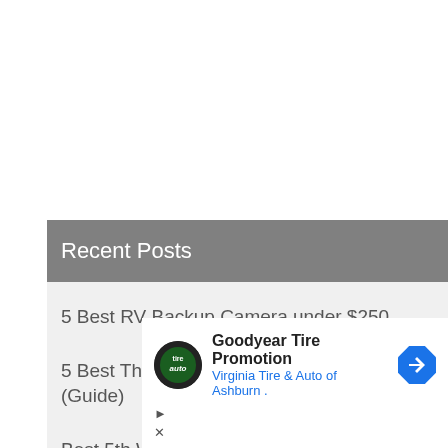Recent Posts
5 Best RV Backup Camera under $250.
5 Best Three Bedroom 5th Wheel of 2022. (Guide)
Best 5th Wheel For The Money in 2022.
[Figure (other): Advertisement: Goodyear Tire Promotion - Virginia Tire & Auto of Ashburn]